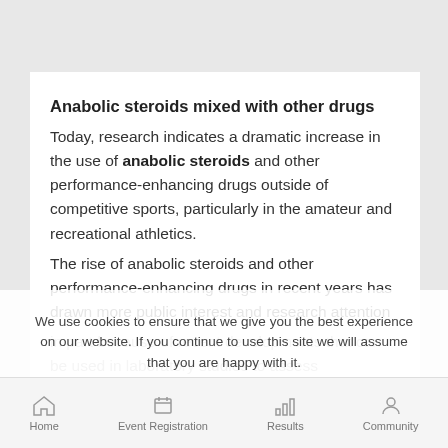Anabolic steroids mixed with other drugs
Today, research indicates a dramatic increase in the use of anabolic steroids and other performance-enhancing drugs outside of competitive sports, particularly in the amateur and recreational athletics.
The rise of anabolic steroids and other performance-enhancing drugs in recent years has drawn more public interest and research attention in part because of recent developments that can be used in laboratory studies to assess performance enhancement, anabolic steroids muscle growth...
We use cookies to ensure that we give you the best experience on our website. If you continue to use this site we will assume that you are happy with it.
Home | Event Registration | Results | Community